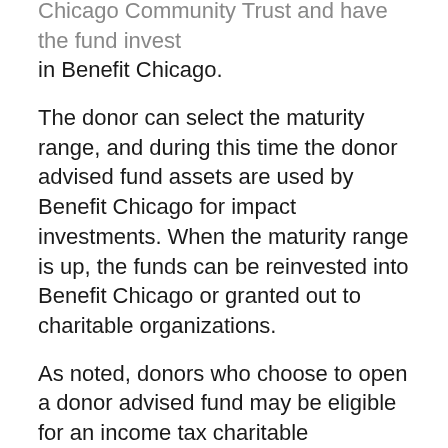Chicago Community Trust and have the fund invest in Benefit Chicago.
The donor can select the maturity range, and during this time the donor advised fund assets are used by Benefit Chicago for impact investments. When the maturity range is up, the funds can be reinvested into Benefit Chicago or granted out to charitable organizations.
As noted, donors who choose to open a donor advised fund may be eligible for an income tax charitable deduction, subject to the applicable IRS rules.
Please note: Different investment minimums apply when opening a new donor advised fund. Please contact The Chicago Community Trust for more information about investing your new donor advised fund in Benefit Chicago.